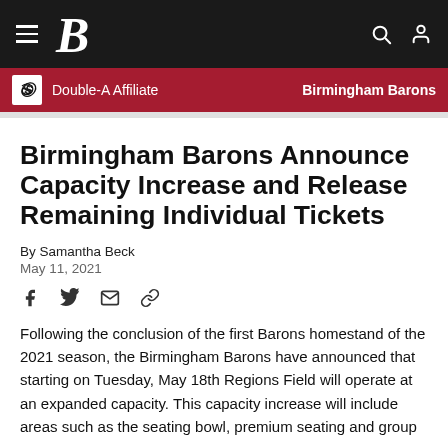Birmingham Barons — Double-A Affiliate | Birmingham Barons
Birmingham Barons Announce Capacity Increase and Release Remaining Individual Tickets
By Samantha Beck
May 11, 2021
Following the conclusion of the first Barons homestand of the 2021 season, the Birmingham Barons have announced that starting on Tuesday, May 18th Regions Field will operate at an expanded capacity. This capacity increase will include areas such as the seating bowl, premium seating and group areas.